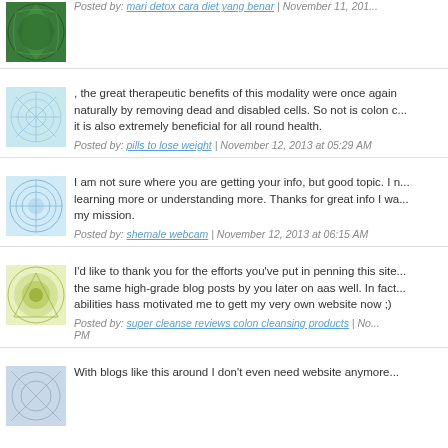Posted by: mari detox cara diet yang benar | November 11, 201...
, the great therapeutic benefits of this modality were once again naturally by removing dead and disabled cells. So not is colon c... it is also extremely beneficial for all round health.
Posted by: pills to lose weight | November 12, 2013 at 05:29 AM
I am not sure where you are getting your info, but good topic. I n... learning more or understanding more. Thanks for great info I wa... my mission.
Posted by: shemale webcam | November 12, 2013 at 06:15 AM
I'd like to thank you for the efforts you've put in penning this site... the same high-grade blog posts by you later on aas well. In fact... abilities hass motivated me to gett my very own website now ;)
Posted by: super cleanse reviews colon cleansing products | No... PM
With blogs like this around I don't even need website anymore...